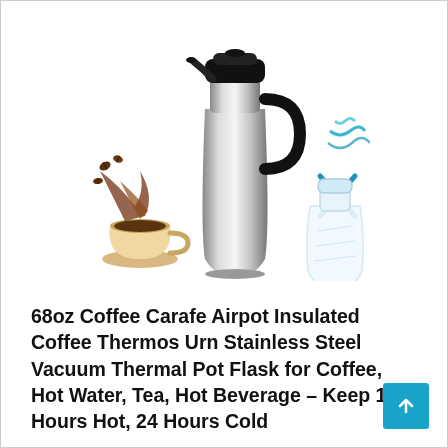[Figure (photo): A stainless steel coffee carafe thermos with black lid and handle, shown with a coffee cup spilling beans on the left and a frosted bottle with blue ribbon on the right, on a white background.]
68oz Coffee Carafe Airpot Insulated Coffee Thermos Urn Stainless Steel Vacuum Thermal Pot Flask for Coffee, Hot Water, Tea, Hot Beverage – Keep 12 Hours Hot, 24 Hours Cold